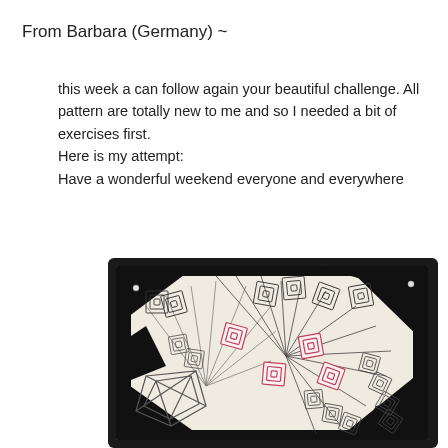From Barbara (Germany) ~
this week a can follow again your beautiful challenge. All pattern are totally new to me and so I needed a bit of exercises first.
Here is my attempt:
Have a wonderful weekend everyone and everywhere
[Figure (illustration): A black and white zentangle artwork with pink/red spiral square accents, featuring fan-like radiating lines, geometric spiral patterns, and grid structures on a cream background with black border.]